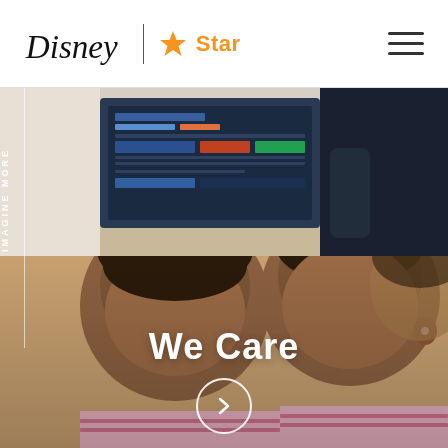Disney | Star — navigation header with logo and hamburger menu
[Figure (photo): Top photograph showing a person standing near a screen/display with colorful interface, dark clothing, blurred background]
[Figure (photo): Bottom photograph of two young Indian children in school uniforms looking down at something, warm beige/brown background tones]
We Care
[Figure (other): Circular right-arrow button overlay on the bottom photo]